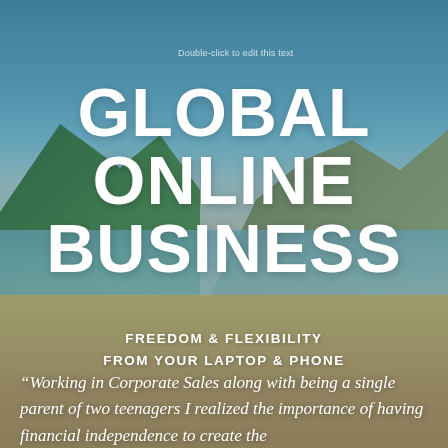[Figure (photo): Beach scene with a woman in a wide-brimmed hat sitting in a beach chair facing the sea, with mountains in the background and a colorful beach bag beside her. Blue sky and water visible.]
Double-click to edit this text
GLOBAL ONLINE BUSINESS
FREEDOM & FLEXIBILITY
FROM YOUR LAPTOP & PHONE
“Working in Corporate Sales along with being a single parent of two teenagers I realized the importance of having financial independence to create the